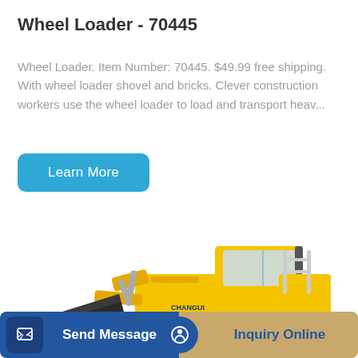Wheel Loader - 70445
Wheel Loader. Item Number: 70445. $49.99 free shipping. With wheel loader shovel and bricks. Clever construction workers use the wheel loader to load and transport heav...
Learn More
[Figure (photo): Yellow wheel loader construction vehicle with large front bucket/shovel on white background]
Send Message
Inquiry Online